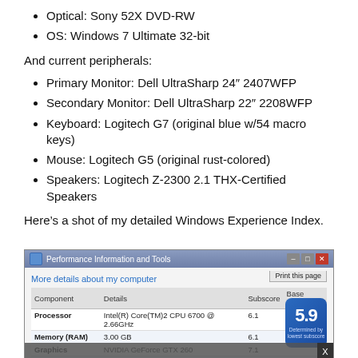Optical: Sony 52X DVD-RW
OS: Windows 7 Ultimate 32-bit
And current peripherals:
Primary Monitor: Dell UltraSharp 24″ 2407WFP
Secondary Monitor: Dell UltraSharp 22″ 2208WFP
Keyboard: Logitech G7 (original blue w/54 macro keys)
Mouse: Logitech G5 (original rust-colored)
Speakers: Logitech Z-2300 2.1 THX-Certified Speakers
Here's a shot of my detailed Windows Experience Index.
[Figure (screenshot): Windows 7 Performance Information and Tools dialog showing Windows Experience Index scores. Components listed: Processor (Intel(R) Core(TM)2 CPU 6700 @ 2.66GHz, 6.1), Memory RAM (3.00 GB, 6.1), Graphics (NVIDIA GeForce GTX 260, 7.1), Gaming graphics (2170 MB Total available graphics memory, 7.1), Primary hard disk (36GB Free / 41GB Total, 5.9). Base score badge shows 5.9, Determined by lowest subscore.]